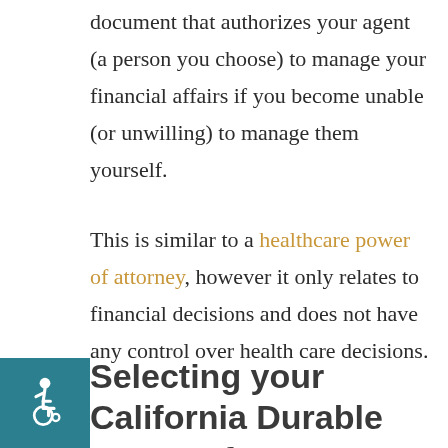document that authorizes your agent (a person you choose) to manage your financial affairs if you become unable (or unwilling) to manage them yourself.
This is similar to a healthcare power of attorney, however it only relates to financial decisions and does not have any control over health care decisions.
Selecting your California Durable Power of Attorney Agent